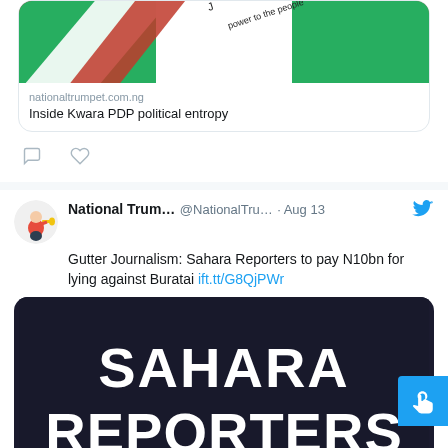[Figure (screenshot): Twitter/X screenshot showing two tweets from National Trumpet account. First tweet shows a link card for 'Inside Kwara PDP political entropy' from nationaltrumpet.com.ng with a Nigerian flag image. Second tweet from @NationalTru... dated Aug 13 reads: 'Gutter Journalism: Sahara Reporters to pay N10bn for lying against Buratai ift.tt/G8QjPWr' with a Sahara Reporters logo image (dark background, white bold text, orange underline).]